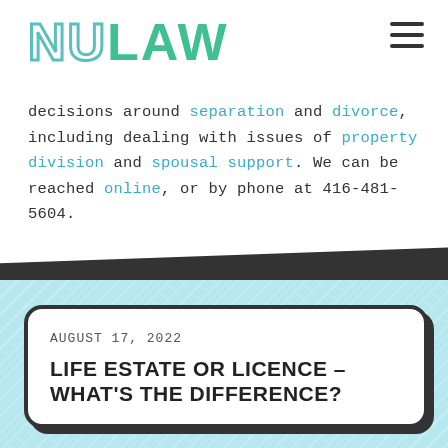[Figure (logo): NULAW logo with teal outlined letters NU and filled teal letters LAW]
decisions around separation and divorce, including dealing with issues of property division and spousal support. We can be reached online, or by phone at 416-481-5604.
[Figure (illustration): Dark diagonal band separator followed by light blue diagonal-striped background section]
AUGUST 17, 2022
LIFE ESTATE OR LICENCE – WHAT'S THE DIFFERENCE?